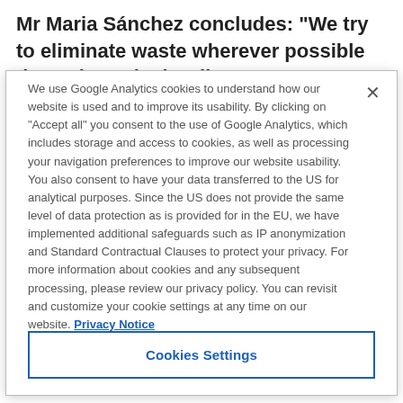Mr Maria Sánchez concludes: “We try to eliminate waste wherever possible throughout the bottling process. Our
We use Google Analytics cookies to understand how our website is used and to improve its usability. By clicking on “Accept all” you consent to the use of Google Analytics, which includes storage and access to cookies, as well as processing your navigation preferences to improve our website usability. You also consent to have your data transferred to the US for analytical purposes. Since the US does not provide the same level of data protection as is provided for in the EU, we have implemented additional safeguards such as IP anonymization and Standard Contractual Clauses to protect your privacy. For more information about cookies and any subsequent processing, please review our privacy policy. You can revisit and customize your cookie settings at any time on our website. Privacy Notice
Cookies Settings